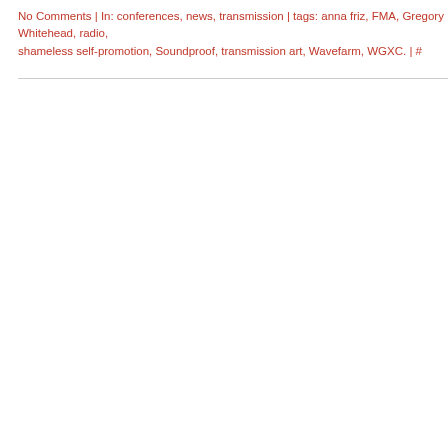No Comments | In: conferences, news, transmission | tags: anna friz, FMA, Gregory Whitehead, radio, shameless self-promotion, Soundproof, transmission art, Wavefarm, WGXC. | #